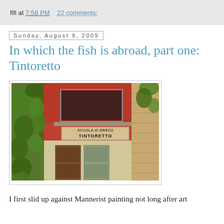fifi at 7:58 PM   22 comments:
Sunday, August 9, 2009
In which the fish is abroad, part one: Tintoretto
[Figure (photo): Exterior photograph of the Scuola di Greco Tintoretto building in Venice, showing a reddish-brown facade with green ivy/vegetation on the left side, a sign reading 'SCUOLA di GRECO TINTORETTO', wooden doors at ground level, and brick walls on the right.]
I first slid up against Mannerist painting not long after art